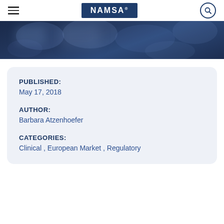NAMSA
[Figure (photo): Dark blue blurred bokeh background image used as hero banner]
PUBLISHED:
May 17, 2018
AUTHOR:
Barbara Atzenhoefer
CATEGORIES:
Clinical , European Market , Regulatory